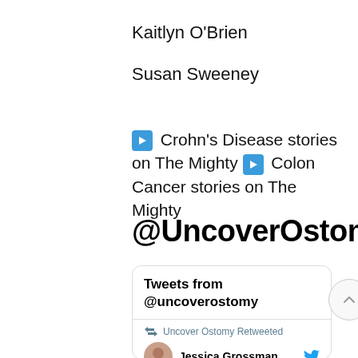Kaitlyn O'Brien
Susan Sweeney
➡ Crohn's Disease stories on The Mighty ➡ Colon Cancer stories on The Mighty
@UncoverOstomy
[Figure (screenshot): Embedded Twitter widget showing 'Tweets from @uncoverostomy' header, with a retweet notification 'Uncover Ostomy Retweeted' and user 'Jessica Grossman' with Twitter bird icon, and a scroll-up button on the right.]